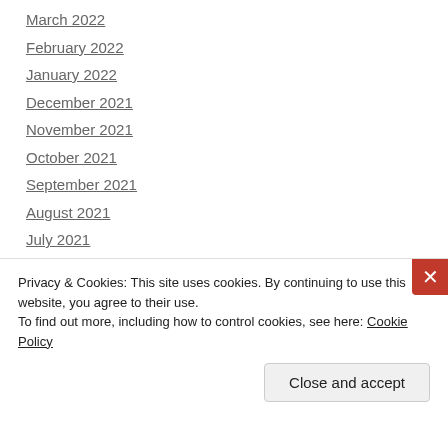March 2022
February 2022
January 2022
December 2021
November 2021
October 2021
September 2021
August 2021
July 2021
June 2021
May 2021
April 2021
March 2021
Privacy & Cookies: This site uses cookies. By continuing to use this website, you agree to their use. To find out more, including how to control cookies, see here: Cookie Policy
Close and accept